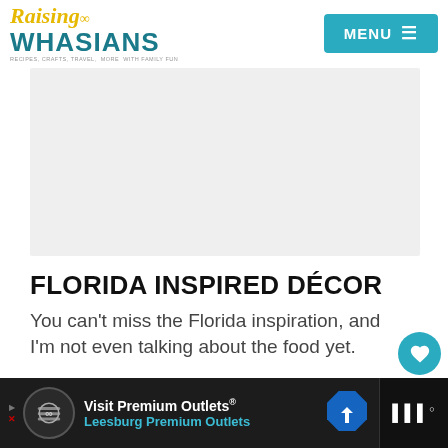[Figure (logo): Raising Whasians blog logo with yellow italic cursive 'Raising' text and teal bold uppercase 'WHASIANS' text, with small tagline 'Recipes, Crafts, Travel, more with family fun']
[Figure (screenshot): MENU button with hamburger icon on teal background in top right corner]
[Figure (photo): Light gray rectangular image placeholder area]
FLORIDA INSPIRED DÉCOR
You can't miss the Florida inspiration, and I'm not even talking about the food yet.
[Figure (infographic): Heart icon button (teal circle) with count 703 below, and share icon button (white circle) below that]
[Figure (screenshot): Footer advertisement bar: Visit Premium Outlets® Leesburg Premium Outlets with logo circle and blue diamond navigation icon]